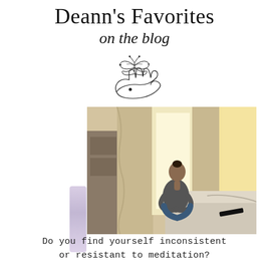Deann's Favorites on the blog
[Figure (logo): Decorative illustration of a butterfly above an open hand with sparkle/star accents, drawn in a fine line art style]
[Figure (photo): A woman sitting cross-legged on a bed in a meditation pose, head tilted back, in a warmly lit room with curtains and a wooden dresser in the background. A purple watercolor brush stroke accent appears on the left side of the image.]
Do you find yourself inconsistent or resistant to meditation?